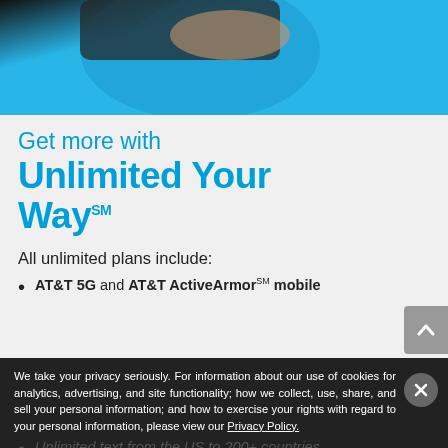[Figure (photo): AT&T promotional banner photo showing a person holding a phone against a cyan/blue background]
Get more with Unlimited Your Way℠
All unlimited plans include:
AT&T 5G and AT&T ActiveArmor℠ mobile
We take your privacy seriously. For information about our use of cookies for analytics, advertising, and site functionality; how we collect, use, share, and sell your personal information; and how to exercise your rights with regard to your personal information, please view our Privacy Policy.
Unlimited text from the US to 200+ countries